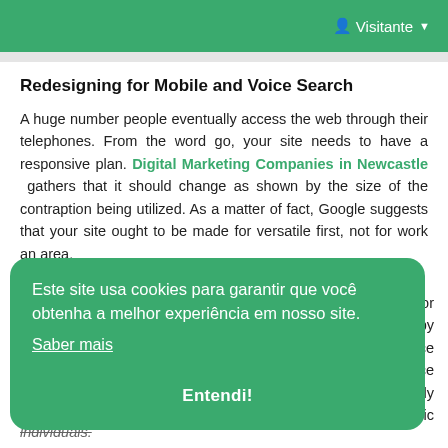Visitante
Redesigning for Mobile and Voice Search
A huge number people eventually access the web through their telephones. From the word go, your site needs to have a responsive plan. Digital Marketing Companies in Newcastle gathers that it should change as shown by the size of the contraption being utilized. As a matter of fact, Google suggests that your site ought to be made for versatile first, not for work an area.
Este site usa cookies para garantir que você obtenha a melhor experiência em nosso site.
Saber mais
Entendi!